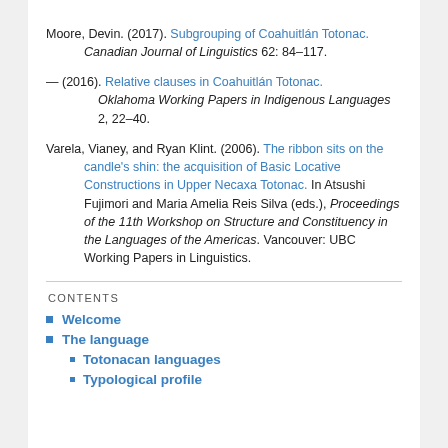Moore, Devin. (2017). Subgrouping of Coahuitlán Totonac. Canadian Journal of Linguistics 62: 84–117.
— (2016). Relative clauses in Coahuitlán Totonac. Oklahoma Working Papers in Indigenous Languages 2, 22–40.
Varela, Vianey, and Ryan Klint. (2006). The ribbon sits on the candle's shin: the acquisition of Basic Locative Constructions in Upper Necaxa Totonac. In Atsushi Fujimori and Maria Amelia Reis Silva (eds.), Proceedings of the 11th Workshop on Structure and Constituency in the Languages of the Americas. Vancouver: UBC Working Papers in Linguistics.
CONTENTS
Welcome
The language
Totonacan languages
Typological profile